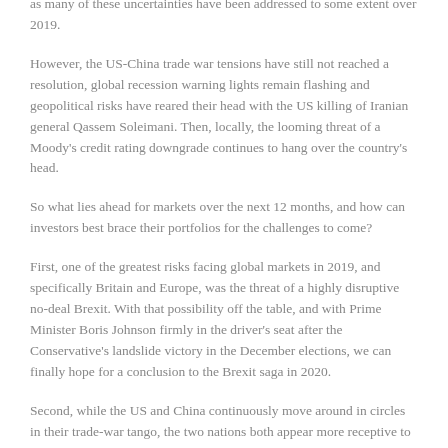as many of these uncertainties have been addressed to some extent over 2019.
However, the US-China trade war tensions have still not reached a resolution, global recession warning lights remain flashing and geopolitical risks have reared their head with the US killing of Iranian general Qassem Soleimani. Then, locally, the looming threat of a Moody's credit rating downgrade continues to hang over the country's head.
So what lies ahead for markets over the next 12 months, and how can investors best brace their portfolios for the challenges to come?
First, one of the greatest risks facing global markets in 2019, and specifically Britain and Europe, was the threat of a highly disruptive no-deal Brexit. With that possibility off the table, and with Prime Minister Boris Johnson firmly in the driver's seat after the Conservative's landslide victory in the December elections, we can finally hope for a conclusion to the Brexit saga in 2020.
Second, while the US and China continuously move around in circles in their trade-war tango, the two nations both appear more receptive to a truce compared to January last year. And with the